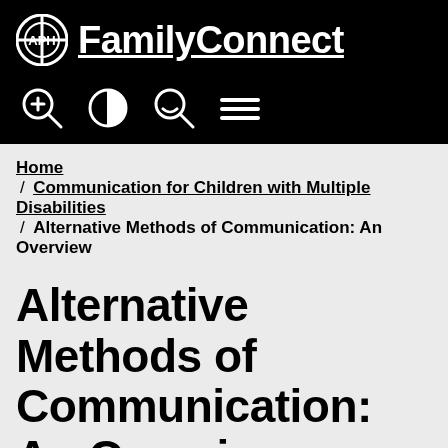APH FamilyConnect
[Figure (logo): APH FamilyConnect website header with logo and navigation icons (zoom in, contrast, search, menu)]
Home / Communication for Children with Multiple Disabilities / Alternative Methods of Communication: An Overview
Alternative Methods of Communication: An Overview